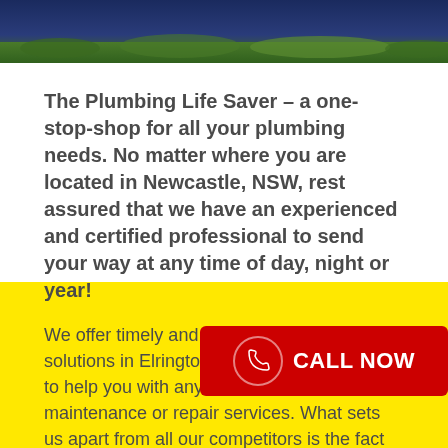[Figure (photo): Header image showing dark navy blue and green grass/landscape at the top of the page]
The Plumbing Life Saver – a one-stop-shop for all your plumbing needs. No matter where you are located in Newcastle, NSW, rest assured that we have an experienced and certified professional to send your way at any time of day, night or year!
We offer timely and affordable plumbing solutions in Elrington and surrounding areas to help you with any installation, maintenance or repair services. What sets us apart from all our competitors is the fact that we offer competitive prices, high turnaround rate and exceptional results. With The Plumbing Life Saver, there are no compromises and you can get it all – outstanding quality at a fair price. What our clients highlight is our highly professional and friendly... they feel safe and confident letting ... to do the work – which is not alway... agree?
Our clients know that they can entrust us with any plumbing...
[Figure (other): Red CALL NOW button with phone icon on the right side of the page]